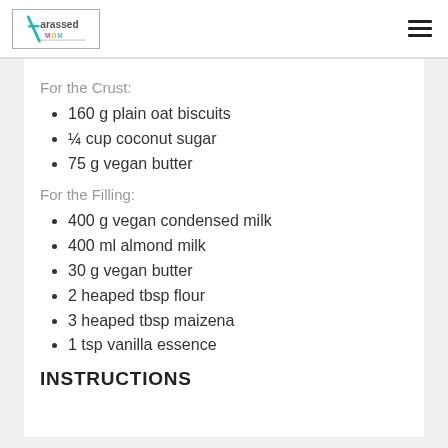Harassed Mom (logo) + hamburger menu
For the Crust:
160 g plain oat biscuits
¼ cup coconut sugar
75 g vegan butter
For the Filling:
400 g vegan condensed milk
400 ml almond milk
30 g vegan butter
2 heaped tbsp flour
3 heaped tbsp maizena
1 tsp vanilla essence
INSTRUCTIONS